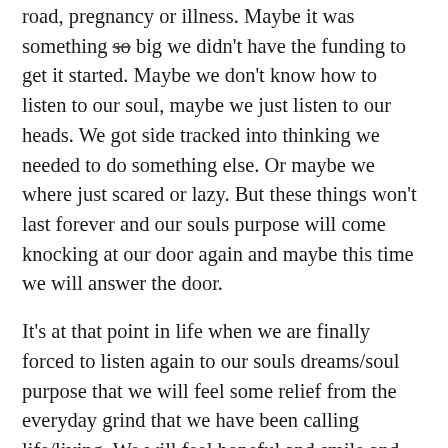road, pregnancy or illness. Maybe it was something so big we didn't have the funding to get it started. Maybe we don't know how to listen to our soul, maybe we just listen to our heads. We got side tracked into thinking we needed to do something else. Or maybe we where just scared or lazy. But these things won't last forever and our souls purpose will come knocking at our door again and maybe this time we will answer the door.
It's at that point in life when we are finally forced to listen again to our souls dreams/soul purpose that we will feel some relief from the everyday grind that we have been calling life/living. We will feel hopeful and smile and maybe even set a goal towards that dream. Then,then the real decisions happen and we ask "What do I need to do to follow this dream?"
Most of the time the difference between those that don't pursue their dreams and those that do is one